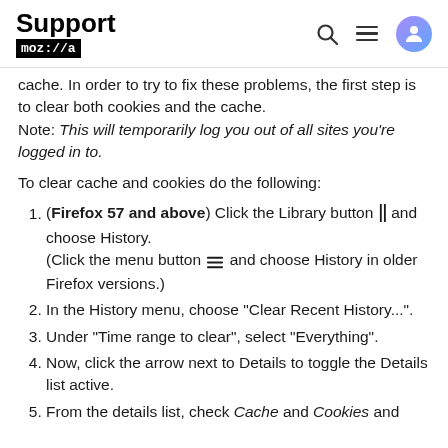Support mozilla
cache. In order to try to fix these problems, the first step is to clear both cookies and the cache.
Note: This will temporarily log you out of all sites you're logged in to.
To clear cache and cookies do the following:
(Firefox 57 and above) Click the Library button [icon] and choose History. (Click the menu button [icon] and choose History in older Firefox versions.)
In the History menu, choose "Clear Recent History...".
Under "Time range to clear", select "Everything".
Now, click the arrow next to Details to toggle the Details list active.
From the details list, check Cache and Cookies and